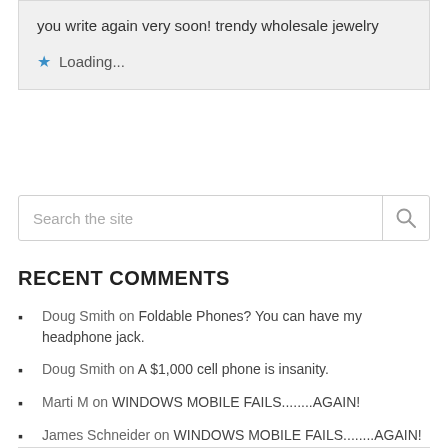you write again very soon! trendy wholesale jewelry
Loading...
[Figure (screenshot): Search the site input box with magnifying glass icon]
RECENT COMMENTS
Doug Smith on Foldable Phones? You can have my headphone jack.
Doug Smith on A $1,000 cell phone is insanity.
Marti M on WINDOWS MOBILE FAILS........AGAIN!
James Schneider on WINDOWS MOBILE FAILS........AGAIN!
Tarin Paul on WINDOWS MOBILE FAILS........AGAIN!